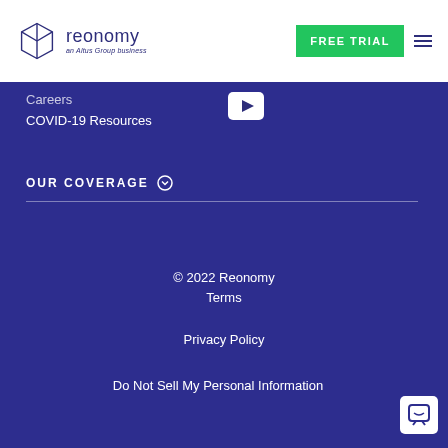[Figure (logo): Reonomy logo — geometric cube outline with 'reonomy' text and 'an Altus Group business' subtitle]
FREE TRIAL
Careers
COVID-19 Resources
[Figure (other): YouTube play button icon in white rounded rectangle]
OUR COVERAGE
© 2022 Reonomy
Terms
Privacy Policy
Do Not Sell My Personal Information
[Figure (other): Chat widget icon — white rounded square with smile/message icon]